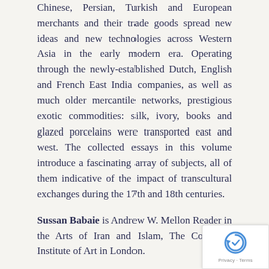Chinese, Persian, Turkish and European merchants and their trade goods spread new ideas and new technologies across Western Asia in the early modern era. Operating through the newly-established Dutch, English and French East India companies, as well as much older mercantile networks, prestigious exotic commodities: silk, ivory, books and glazed porcelains were transported east and west. The collected essays in this volume introduce a fascinating array of subjects, all of them indicative of the impact of transcultural exchanges during the 17th and 18th centuries.
Sussan Babaie is Andrew W. Mellon Reader in the Arts of Iran and Islam, The Courtauld Institute of Art in London.
Melanie Gibson is Senior Editor of the Gingko Library Art Series.